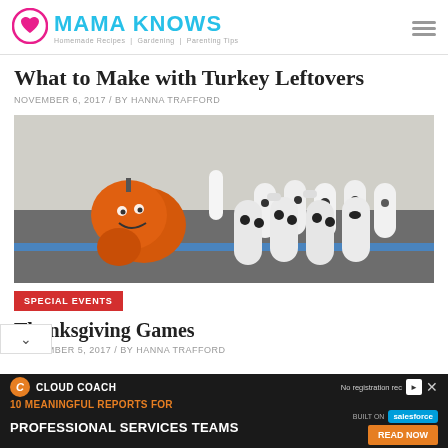MAMA KNOWS — Homemade Recipes | Gardening | Parenting Tips
What to Make with Turkey Leftovers
NOVEMBER 6, 2017 / BY HANNA TRAFFORD
[Figure (photo): Photo of decorated pumpkins and ghost-faced plastic bottles arranged like bowling pins on a carpet floor]
SPECIAL EVENTS
Thanksgiving Games
NOVEMBER 5, 2017 / BY HANNA TRAFFORD
[Figure (infographic): Advertisement banner: Cloud Coach — 10 Meaningful Reports for Professional Services Teams. Built on Salesforce. READ NOW button.]